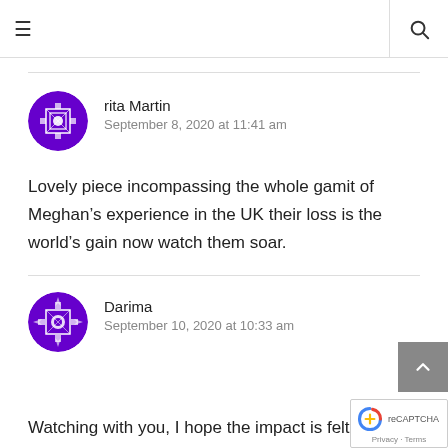☰  🔍
rita Martin
September 8, 2020 at 11:41 am
Lovely piece incompassing the whole gamit of Meghan's experience in the UK their loss is the world's gain now watch them soar.
Darima
September 10, 2020 at 10:33 am
Watching with you, I hope the impact is felt even more in the